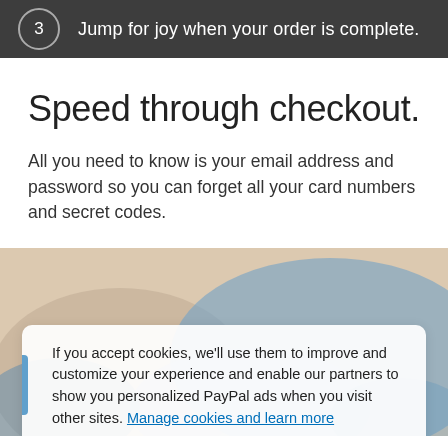3  Jump for joy when your order is complete.
Speed through checkout.
All you need to know is your email address and password so you can forget all your card numbers and secret codes.
[Figure (photo): Background photo of hands/person, beige and blue tones]
If you accept cookies, we'll use them to improve and customize your experience and enable our partners to show you personalized PayPal ads when you visit other sites. Manage cookies and learn more